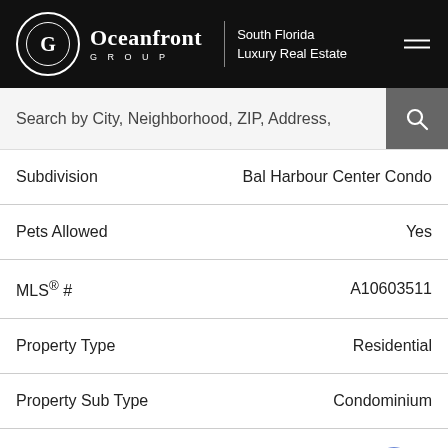[Figure (logo): Oceanfront Group South Florida Luxury Real Estate logo on black header with hamburger menu]
Search by City, Neighborhood, ZIP, Address,
| Subdivision | Bal Harbour Center Condo |
| Pets Allowed | Yes |
| MLS® # | A10603511 |
| Property Type | Residential |
| Property Sub Type | Condominium |
| Status |  |